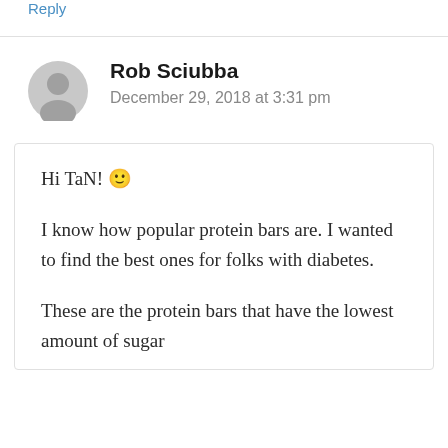Reply
Rob Sciubba
December 29, 2018 at 3:31 pm
Hi TaN! 🙂
I know how popular protein bars are. I wanted to find the best ones for folks with diabetes.
These are the protein bars that have the lowest amount of sugar